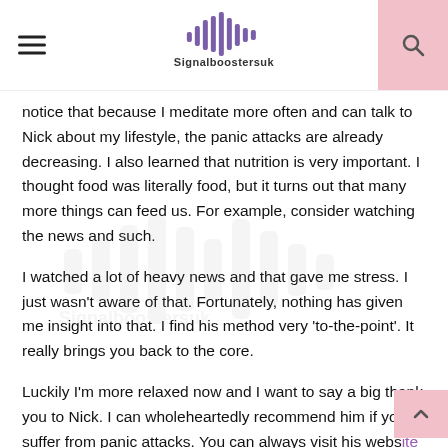Signalboostersuk
notice that because I meditate more often and can talk to Nick about my lifestyle, the panic attacks are already decreasing. I also learned that nutrition is very important. I thought food was literally food, but it turns out that many more things can feed us. For example, consider watching the news and such.
I watched a lot of heavy news and that gave me stress. I just wasn't aware of that. Fortunately, nothing has given me insight into that. I find his method very 'to-the-point'. It really brings you back to the core.
Luckily I'm more relaxed now and I want to say a big thank you to Nick. I can wholeheartedly recommend him if you suffer from panic attacks. You can always visit his website nickdewaard.nl.